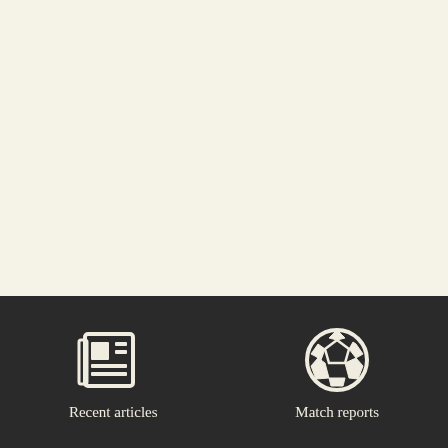Parkinson should be concerned about the emergence of Rory... deputy to defensive lea... that McArdle would h... in the absence of Andr... worrying that it seeme... able to but – mouth on... McArdle had taken res... positioning of the defe... not conceded a goal in...

Which is not to under...
[Figure (screenshot): Dark navigation bar at the bottom of a mobile app screen with two icons: a newspaper/articles icon labeled 'Recent articles' and a soccer ball icon labeled 'Match reports']